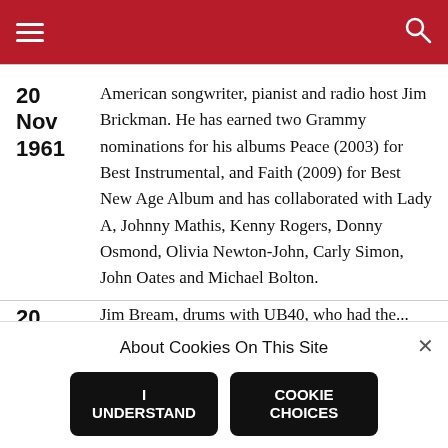20 Nov 1961 — American songwriter, pianist and radio host Jim Brickman. He has earned two Grammy nominations for his albums Peace (2003) for Best Instrumental, and Faith (2009) for Best New Age Album and has collaborated with Lady A, Johnny Mathis, Kenny Rogers, Donny Osmond, Olivia Newton-John, Carly Simon, John Oates and Michael Bolton.
20 — Jim Bream, drums with UB40, who had the...
About Cookies On This Site
I UNDERSTAND
COOKIE CHOICES